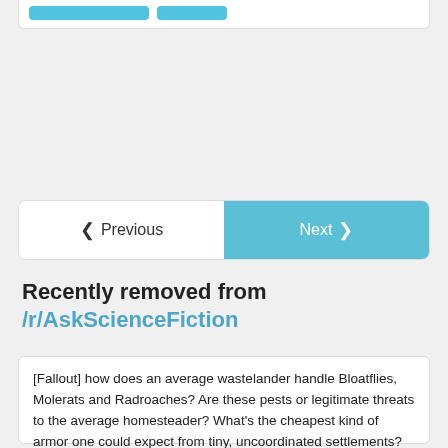[Figure (screenshot): Top portion of a white card with two blue buttons partially visible at top]
[Figure (screenshot): Navigation bar with Previous (left, white) and Next (right, light blue) buttons]
Recently removed from /r/AskScienceFiction
[Fallout] how does an average wastelander handle Bloatflies, Molerats and Radroaches? Are these pests or legitimate threats to the average homesteader? What's the cheapest kind of armor one could expect from tiny, uncoordinated settlements?